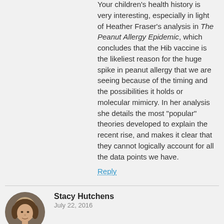Your children's health history is very interesting, especially in light of Heather Fraser's analysis in The Peanut Allergy Epidemic, which concludes that the Hib vaccine is the likeliest reason for the huge spike in peanut allergy that we are seeing because of the timing and the possibilities it holds or molecular mimicry. In her analysis she details the most “popular” theories developed to explain the recent rise, and makes it clear that they cannot logically account for all the data points we have.
Reply
[Figure (photo): Circular avatar photo of Stacy Hutchens, a woman with curly hair]
Stacy Hutchens
July 22, 2016
So, I agree with all of this and do not vaccinate my children, however I have a 3 month old foster baby whom I HAVE to keep up to date on his shots. I don’t have a choice. Are there any guidelines for the safest way to do this? I already give him Vaccishield for a week before and after the shots.
Reply
[Figure (logo): ProfessorTMR logo with diamond pattern in green and gold]
ProfessorTMR
July 22, 2016